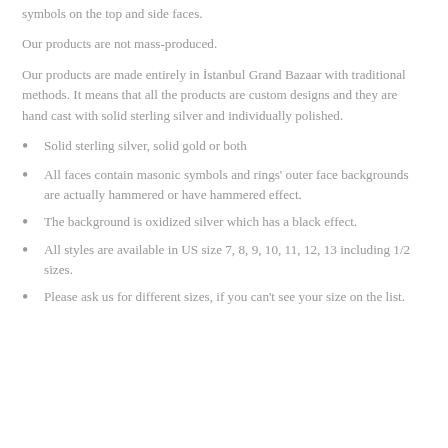symbols on the top and side faces.
Our products are not mass-produced.
Our products are made entirely in İstanbul Grand Bazaar with traditional methods. It means that all the products are custom designs and they are hand cast with solid sterling silver and individually polished.
Solid sterling silver, solid gold or both
All faces contain masonic symbols and rings' outer face backgrounds are actually hammered or have hammered effect.
The background is oxidized silver which has a black effect.
All styles are available in US size 7, 8, 9, 10, 11, 12, 13 including 1/2 sizes.
Please ask us for different sizes, if you can't see your size on the list.